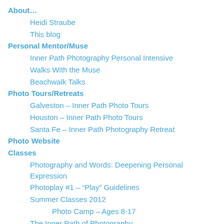About…
Heidi Straube
This blog
Personal Mentor/Muse
Inner Path Photography Personal Intensive
Walks With the Muse
Beachwalk Talks
Photo Tours/Retreats
Galveston – Inner Path Photo Tours
Houston – Inner Path Photo Tours
Santa Fe – Inner Path Photography Retreat
Photo Website
Classes
Photography and Words: Deepening Personal Expression
Photoplay #1 – “Play” Guidelines
Summer Classes 2012
Photo Camp – Ages 8-17
The Inner Path of Photography
You Are the Artist of Your Life – Adults
You are the Artist of Your Life – Teens